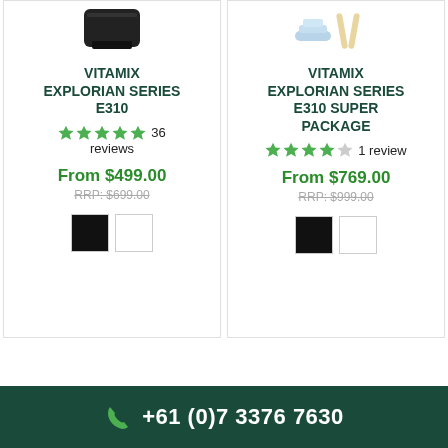[Figure (photo): Product image of Vitamix Explorian Series E310 blender (top portion, black)]
VITAMIX EXPLORIAN SERIES E310
36 reviews (5 stars)
From $499.00
RRP: $699.00
[Figure (photo): Product image of Vitamix Explorian Series E310 Super Package (cleaning brush accessories)]
VITAMIX EXPLORIAN SERIES E310 SUPER PACKAGE
1 review (4 stars)
From $769.00
RRP: $999.00
+61 (0)7 3376 7630